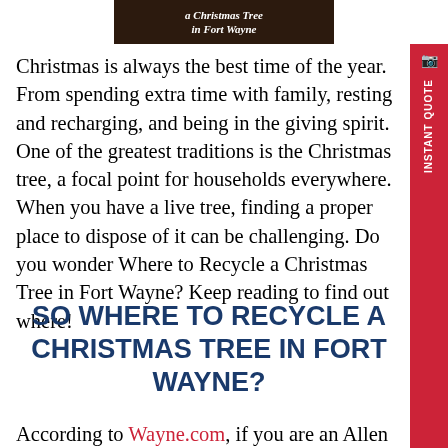[Figure (photo): Top banner image with dark background showing text 'a Christmas Tree in Fort Wayne']
Christmas is always the best time of the year. From spending extra time with family, resting and recharging, and being in the giving spirit. One of the greatest traditions is the Christmas tree, a focal point for households everywhere. When you have a live tree, finding a proper place to dispose of it can be challenging. Do you wonder Where to Recycle a Christmas Tree in Fort Wayne? Keep reading to find out where!
SO WHERE TO RECYCLE A CHRISTMAS TREE IN FORT WAYNE?
According to Wayne.com, if you are an Allen